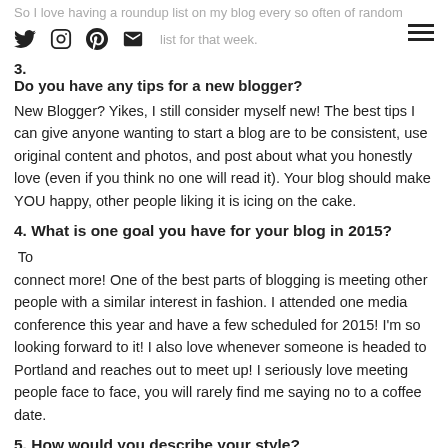So I love having a roundup list on my blog every so often of random things that are on my list for that week.
3.
Do you have any tips for a new blogger?
New Blogger? Yikes, I still consider myself new! The best tips I can give anyone wanting to start a blog are to be consistent, use original content and photos, and post about what you honestly love (even if you think no one will read it). Your blog should make YOU happy, other people liking it is icing on the cake.
4. What is one goal you have for your blog in 2015?
To connect more! One of the best parts of blogging is meeting other people with a similar interest in fashion. I attended one media conference this year and have a few scheduled for 2015! I'm so looking forward to it! I also love whenever someone is headed to Portland and reaches out to meet up! I seriously love meeting people face to face, you will rarely find me saying no to a coffee date.
5. How would you describe your style?